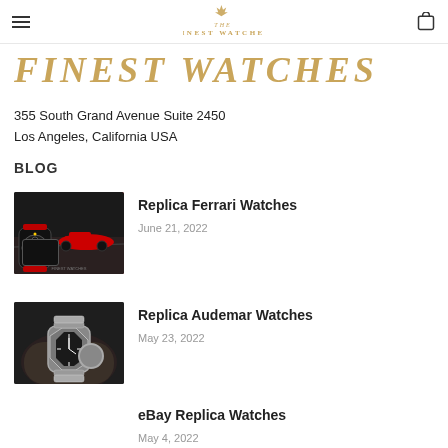THE FINEST WATCHES — navigation bar with hamburger menu and cart icon
FINEST WATCHES
355 South Grand Avenue Suite 2450
Los Angeles, California USA
BLOG
[Figure (photo): Ferrari F1 racing car with a red chronograph watch in foreground]
Replica Ferrari Watches
June 21, 2022
[Figure (photo): Person wearing a luxury Audemars Piguet style watch on wrist, dark clothing]
Replica Audemar Watches
May 23, 2022
eBay Replica Watches
May 4, 2022